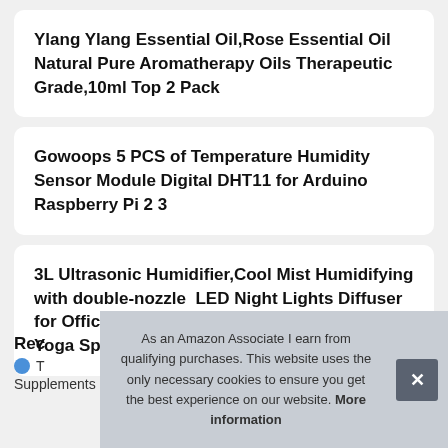Ylang Ylang Essential Oil,Rose Essential Oil Natural Pure Aromatherapy Oils Therapeutic Grade,10ml Top 2 Pack
Gowoops 5 PCS of Temperature Humidity Sensor Module Digital DHT11 for Arduino Raspberry Pi 2 3
3L Ultrasonic Humidifier,Cool Mist Humidifying with double-nozzle  LED Night Lights Diffuser for Office Home Bedroom Living Room Study Yoga Spa
Rec
T
Supplements
As an Amazon Associate I earn from qualifying purchases. This website uses the only necessary cookies to ensure you get the best experience on our website. More information